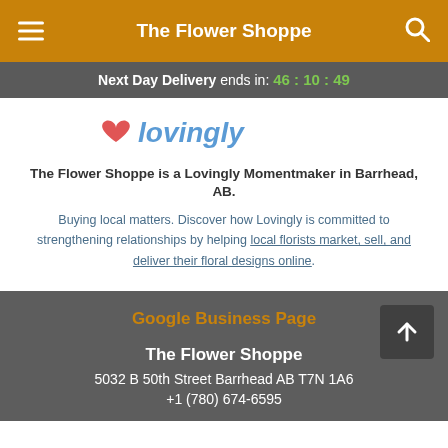The Flower Shoppe
Next Day Delivery ends in: 46 : 10 : 49
[Figure (logo): Lovingly logo with red heart and teal/blue italic text]
The Flower Shoppe is a Lovingly Momentmaker in Barrhead, AB.
Buying local matters. Discover how Lovingly is committed to strengthening relationships by helping local florists market, sell, and deliver their floral designs online.
Google Business Page
The Flower Shoppe
5032 B 50th Street Barrhead AB T7N 1A6
+1 (780) 674-6595